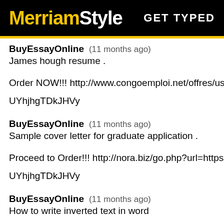MerriamStyle  GET TYPED
BuyEssayOnline   (11 months ago)
James hough resume .
Order NOW!!! http://www.congoemploi.net/offres/use
UYhjhgTDkJHVy
BuyEssayOnline   (11 months ago)
Sample cover letter for graduate application .
Proceed to Order!!! http://nora.biz/go.php?url=https:/
UYhjhgTDkJHVy
BuyEssayOnline   (11 months ago)
How to write inverted text in word